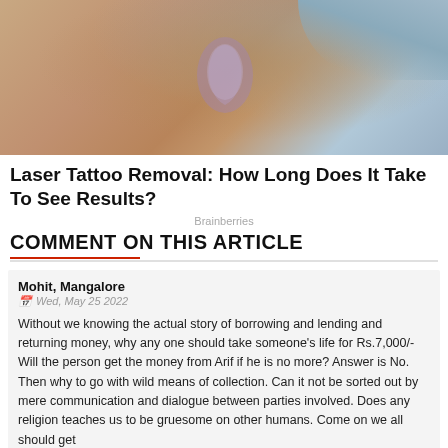[Figure (photo): Close-up photo of a person's skin/back with a tattoo being treated with laser removal, hands visible applying treatment.]
Laser Tattoo Removal: How Long Does It Take To See Results?
Brainberries
COMMENT ON THIS ARTICLE
Mohit, Mangalore
Wed, May 25 2022
Without we knowing the actual story of borrowing and lending and returning money, why any one should take someone's life for Rs.7,000/- Will the person get the money from Arif if he is no more? Answer is No. Then why to go with wild means of collection. Can it not be sorted out by mere communication and dialogue between parties involved. Does any religion teaches us to be gruesome on other humans. Come on we all should get